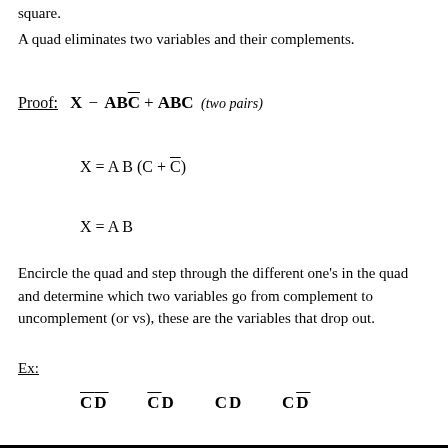square.
A quad eliminates two variables and their complements.
Encircle the quad and step through the different one's in the quad and determine which two variables go from complement to uncomplement (or vs), these are the variables that drop out.
Ex:
CD̄  C̄D  CD  CD̄